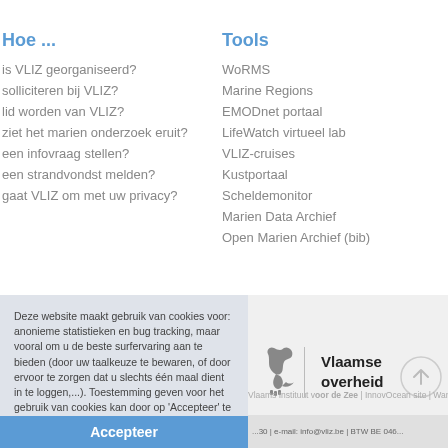Hoe ...
is VLIZ georganiseerd?
solliciteren bij VLIZ?
lid worden van VLIZ?
ziet het marien onderzoek eruit?
een infovraag stellen?
een strandvondst melden?
gaat VLIZ om met uw privacy?
Tools
WoRMS
Marine Regions
EMODnet portaal
LifeWatch virtueel lab
VLIZ-cruises
Kustportaal
Scheldemonitor
Marien Data Archief
Open Marien Archief (bib)
Deze website maakt gebruik van cookies voor: anonieme statistieken en bug tracking, maar vooral om u de beste surfervaring aan te bieden (door uw taalkeuze te bewaren, of door ervoor te zorgen dat u slechts één maal dient in te loggen,...). Toestemming geven voor het gebruik van cookies kan door op 'Accepteer' te klikken of door gewoon verder te browsen.
Meer info vindt u terug in onze Privacy Policy
Accepteer
[Figure (logo): Vlaamse overheid logo with lion symbol]
Vlaams Instituut voor de Zee | InnovOcean site | Wandelaa... | e-mail: info@vliz.be | BTW BE 046...